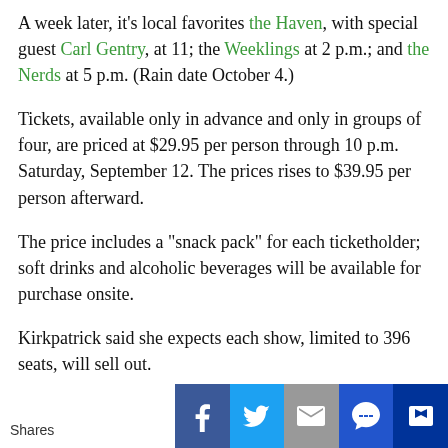A week later, it's local favorites the Haven, with special guest Carl Gentry, at 11; the Weeklings at 2 p.m.; and the Nerds at 5 p.m. (Rain date October 4.)
Tickets, available only in advance and only in groups of four, are priced at $29.95 per person through 10 p.m. Saturday, September 12. The prices rises to $39.95 per person afterward.
The price includes a "snack pack" for each ticketholder; soft drinks and alcoholic beverages will be available for purchase onsite.
Kirkpatrick said she expects each show, limited to 396 seats, will sell out.
To comply with pandemic-driven requirements, seating will be provided, with chairs arranged on a grid, in rows separated by eight feet, Kirkpatrick said. Seats will be disinfected after each performance. Restrooms will be available, and anyone entering one must wear a face covering.
"We will have a continuous bathroom attendant sanitizing during and between shows," RiverCenter said in an announcement on its
Shares